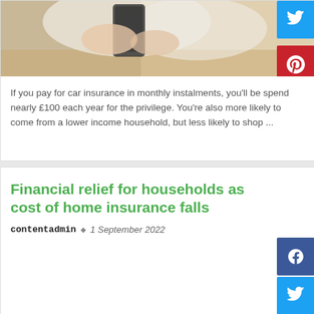[Figure (photo): Person holding a smartphone, sitting at a table, wearing white clothing. Photo is partially cropped showing hands and lower body area.]
If you pay for car insurance in monthly instalments, you'll be spend nearly £100 each year for the privilege. You're also more likely to come from a lower income household, but less likely to shop ...
Financial relief for households as cost of home insurance falls
contentadmin · 1 September 2022